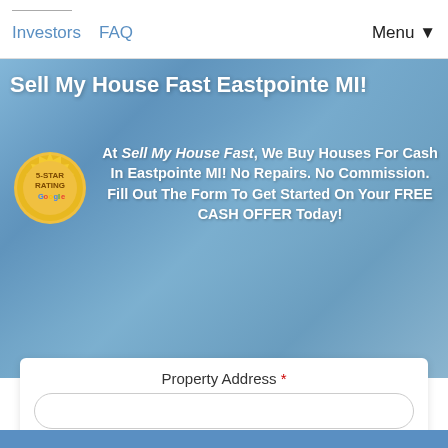Investors   FAQ   Menu ▼
Sell My House Fast Eastpointe MI!
[Figure (illustration): Gold 5-star rating Google badge/seal]
At Sell My House Fast, We Buy Houses For Cash In Eastpointe MI! No Repairs. No Commission. Fill Out The Form To Get Started On Your FREE CASH OFFER Today!
Property Address *
Phone